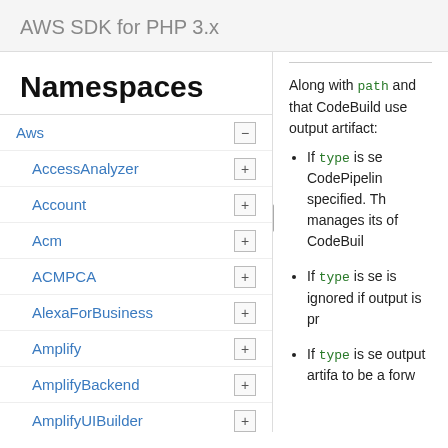AWS SDK for PHP 3.x
Namespaces
Aws
AccessAnalyzer
Account
Acm
ACMPCA
AlexaForBusiness
Amplify
AmplifyBackend
AmplifyUIBuilder
Api
ApiGateway
ApiGatewayManagementApi
Along with path and that CodeBuild uses output artifact:
If type is se CodePipeline specified. The manages its of CodeBuil
If type is se is ignored if output is pro
If type is se output artifa to be a forw